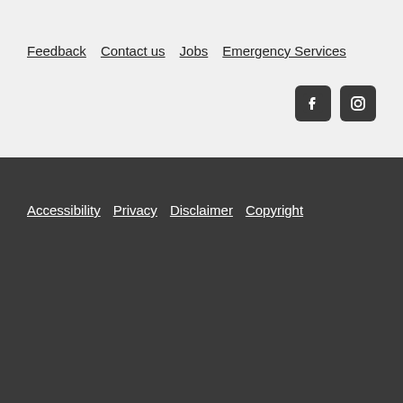Feedback  Contact us  Jobs  Emergency Services
[Figure (other): Facebook and Instagram social media icons in dark rounded square buttons]
Accessibility  Privacy  Disclaimer  Copyright